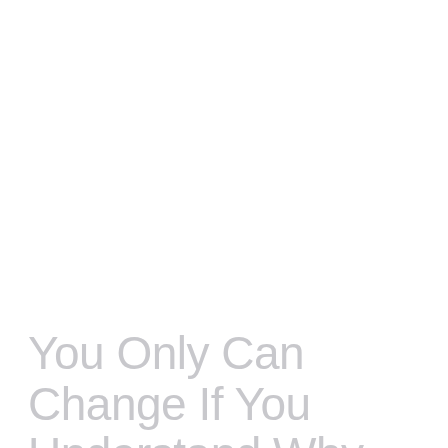AUGUST 22, 2021
You Only Can Change If You Understand Why